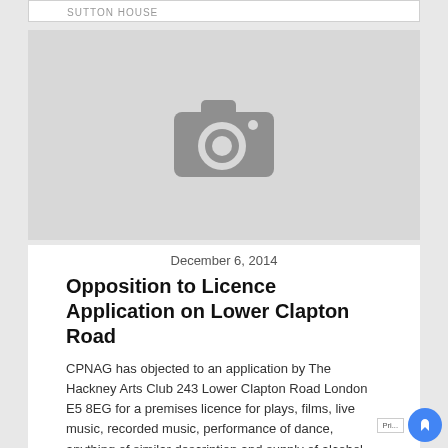SUTTON HOUSE
[Figure (photo): Image placeholder with camera icon — no photo loaded]
December 6, 2014
Opposition to Licence Application on Lower Clapton Road
CPNAG has objected to an application by The Hackney Arts Club 243 Lower Clapton Road London E5 8EG for a premises licence for plays, films, live music, recorded music, performance of dance, anything of similar description and supply of alcohol from 10:00 to 01:00am Sun to Wed and from 10:00 to 04:00am Thurs to Sat, and late night refreshments from...